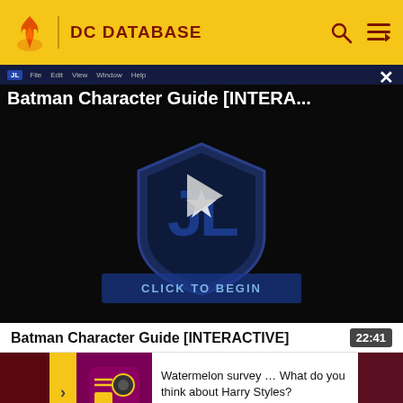DC DATABASE
[Figure (screenshot): Video player showing Batman Character Guide [INTERA...] with Justice League shield logo, play button overlay, and CLICK TO BEGIN button on dark background]
Batman Character Guide [INTERACTIVE]
22:41
Watermelon survey … What do you think about Harry Styles? TAKE THE SURVEY HERE